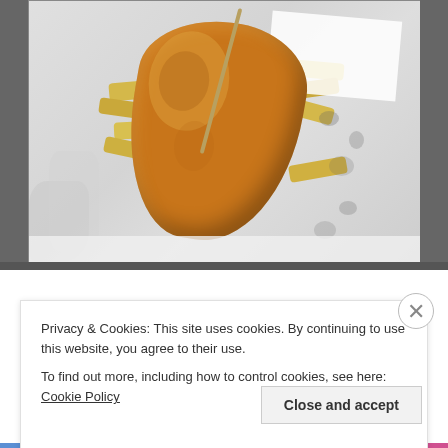[Figure (photo): Photograph of fish and chips wrapped in white paper and foil, viewed from above. The battered fish is golden-brown with chips visible underneath, and a wooden skewer is visible. The background is crumpled foil/paper with grease spots.]
Privacy & Cookies: This site uses cookies. By continuing to use this website, you agree to their use.
To find out more, including how to control cookies, see here: Cookie Policy
Close and accept